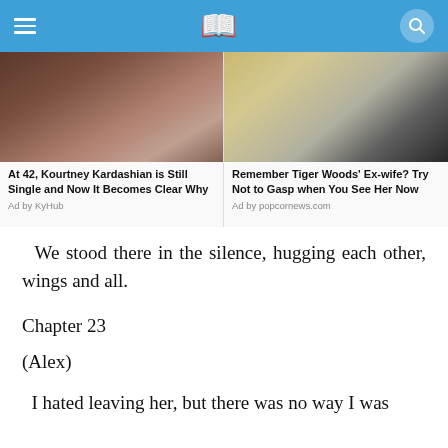[Figure (photo): Photo of a woman with dark hair, partial face/shoulder visible (ad image for KyHub)]
At 42, Kourtney Kardashian is Still Single and Now It Becomes Clear Why
Ad by KyHub
[Figure (photo): Photo of a blonde woman with a man in a bow tie, partial faces visible (ad image for popcornews.com)]
Remember Tiger Woods' Ex-wife? Try Not to Gasp when You See Her Now
Ad by popcornews.com
We stood there in the silence, hugging each other, wings and all.
Chapter 23
(Alex)
I hated leaving her, but there was no way I was